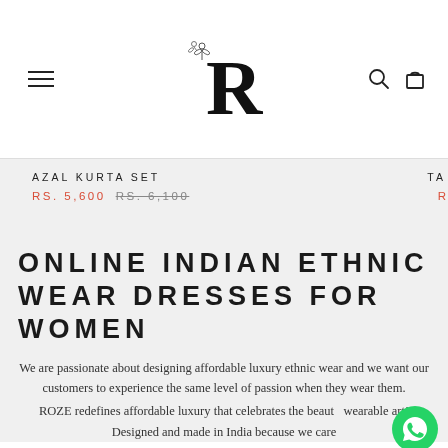ROZE — navigation header with logo, menu icon, search and cart icons
AZAL KURTA SET RS. 5,600 RS. 6,100 TA...
ONLINE INDIAN ETHNIC WEAR DRESSES FOR WOMEN
We are passionate about designing affordable luxury ethnic wear and we want our customers to experience the same level of passion when they wear them.
ROZE redefines affordable luxury that celebrates the beauty of wearable art! Designed and made in India because we care